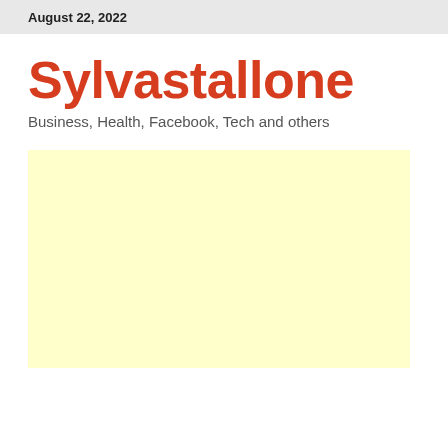August 22, 2022
Sylvastallone
Business, Health, Facebook, Tech and others
[Figure (other): Light yellow advertisement or placeholder block]